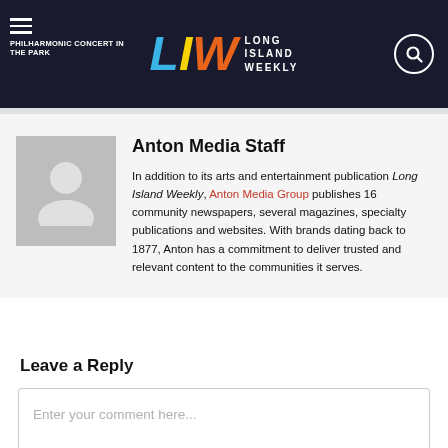PHILHARMONIC CONCERT IN THE PARK
[Figure (logo): Long Island Weekly (LIW) logo with stylized L in blue, I in yellow, W in orange, and LONG ISLAND WEEKLY text]
Anton Media Staff
In addition to its arts and entertainment publication Long Island Weekly, Anton Media Group publishes 16 community newspapers, several magazines, specialty publications and websites. With brands dating back to 1877, Anton has a commitment to deliver trusted and relevant content to the communities it serves.
Leave a Reply
Enter your comment here...